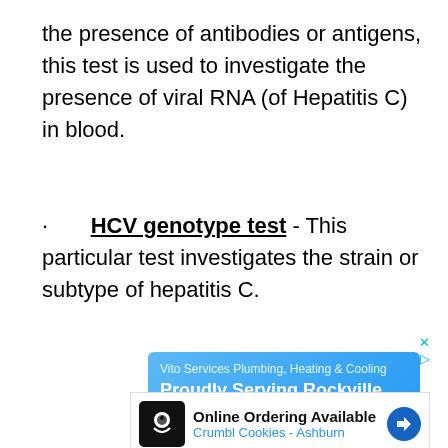the presence of antibodies or antigens, this test is used to investigate the presence of viral RNA (of Hepatitis C) in blood.
· HCV genotype test - This particular test investigates the strain or subtype of hepatitis C.
[Figure (other): Advertisement for Vito Services Plumbing, Heating & Cooling. Blue gradient background. Text: 'Vito Services Plumbing, Heating & Cooling', 'Proudly Serving Rockville, MD', '24/7 Emergency Service Available. Financing Available.']
[Figure (other): Advertisement for Crumbl Cookies - Ashburn. White background with chef icon. Text: 'Online Ordering Available', 'Crumbl Cookies - Ashburn'. Blue navigation arrow icon on right.]